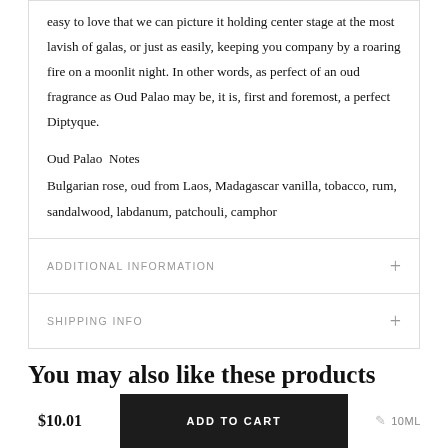easy to love that we can picture it holding center stage at the most lavish of galas, or just as easily, keeping you company by a roaring fire on a moonlit night. In other words, as perfect of an oud fragrance as Oud Palao may be, it is, first and foremost, a perfect Diptyque.
Oud Palao Notes
Bulgarian rose, oud from Laos, Madagascar vanilla, tobacco, rum, sandalwood, labdanum, patchouli, camphor
ADDITIONAL INFORMATION
SHIPPING INFO
You may also like these products
$10.01
ADD TO CART
10ML